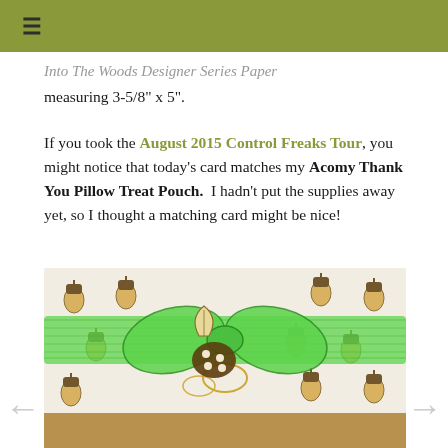≡
Into The Woods Designer Series Paper measuring 3-5/8" x 5".
If you took the August 2015 Control Freaks Tour, you might notice that today's card matches my Acomy Thank You Pillow Treat Pouch.  I hadn't put the supplies away yet, so I thought a matching card might be nice!
[Figure (photo): A decorative pillow treat pouch wrapped in white paper with brown acorn print pattern, tied with a bright green lace/mesh ribbon bow, featuring a leaf embellishment and gold cord, sitting on brown kraft paper background.]